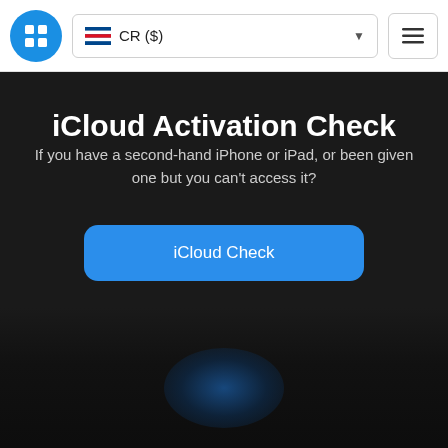[Figure (logo): Blue circle logo with SIM card / grid icon]
CR ($)
iCloud Activation Check
If you have a second-hand iPhone or iPad, or been given one but you can't access it?
iCloud Check